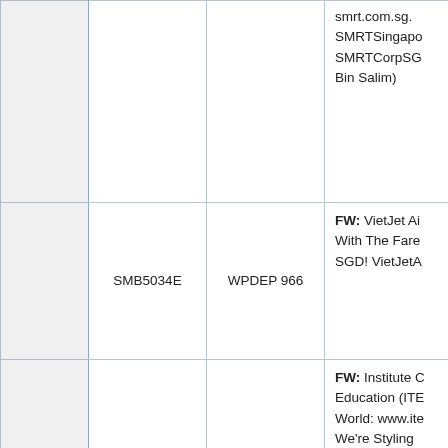|  | Code | WP | Description |
| --- | --- | --- | --- |
|  |  |  | smrt.com.sg.
SMRTSingapore
SMRTCorpSG
Bin Salim) |
|  | SMB5034E | WPDEP 966 | FW: VietJet Ai
With The Fare
SGD! VietJetA |
|  | SMB5035C | WPDEP 966 | FW: Institute C
Education (ITE
World: www.ite
We're Styling
Gen: Yellow) |
|  | SMB5036A | WPDEP 966 | FW: SMRT Co
Working On It
Assistant Stat
Operations, M
Serangoon Re
Gets Crowded
Great Joy In M
Passengers A
Find Their Wa |